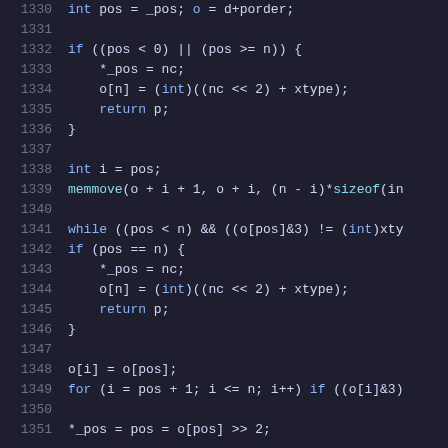[Figure (screenshot): Source code listing in a dark-themed code editor showing C code lines 1330-1351 with syntax highlighting. Blue keywords, cyan function calls, and default text on dark background.]